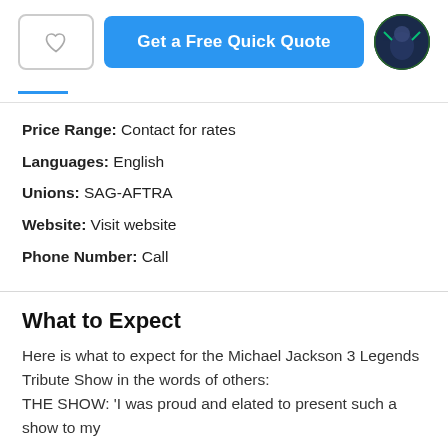[Figure (other): Heart/favorite button, blue 'Get a Free Quick Quote' button, and circular avatar photo of performer]
Price Range: Contact for rates
Languages: English
Unions: SAG-AFTRA
Website: Visit website
Phone Number: Call
What to Expect
Here is what to expect for the Michael Jackson 3 Legends Tribute Show in the words of others:
THE SHOW: 'I was proud and elated to present such a show to my